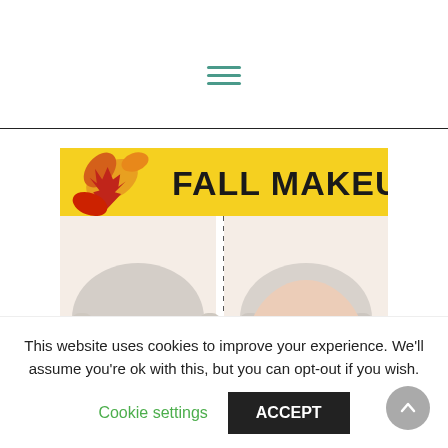≡ (hamburger menu icon)
[Figure (photo): Fall makeup tutorial thumbnail showing before and after photos of an older woman with gray hair. Left side shows no makeup, right side shows full fall makeup with red lips. Yellow banner at top reads 'FALL MAKEUP' with autumn leaf decorations. Green dotted divider line with arrow in center. Yellow banner at bottom reads 'Start to Finish Tutorial'.]
This website uses cookies to improve your experience. We'll assume you're ok with this, but you can opt-out if you wish.
Cookie settings    ACCEPT